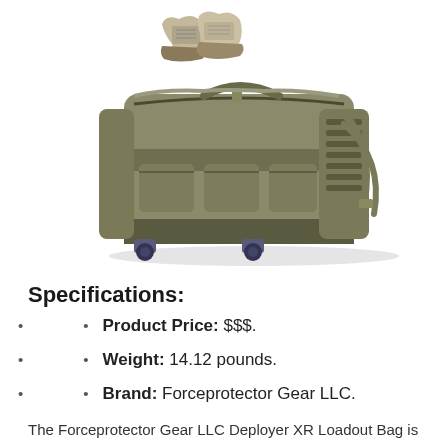[Figure (photo): Large olive/tan tactical rolling duffel bag with MOLLE webbing, multiple pockets, wheels at the bottom, retractable handle straps, and a pair of boots placed on top]
Specifications:
Product Price: $$$.
Weight: 14.12 pounds.
Brand: Forceprotector Gear LLC.
The Forceprotector Gear LLC Deployer XR Loadout Bag is